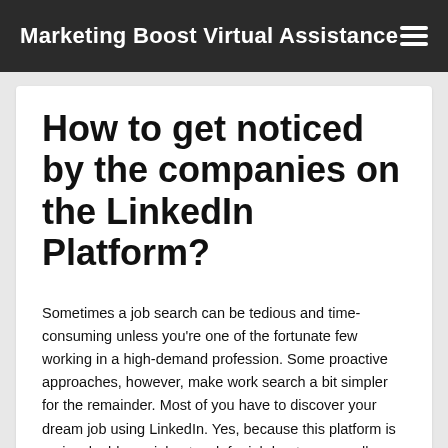Marketing Boost Virtual Assistance
How to get noticed by the companies on the LinkedIn Platform?
Sometimes a job search can be tedious and time-consuming unless you're one of the fortunate few working in a high-demand profession. Some proactive approaches, however, make work search a bit simpler for the remainder. Most of you have to discover your dream job using LinkedIn. Yes, because this platform is an invaluable social network for job hunters as well as experienced experts where recruiters are posting their needs to discover applicants with the ideal